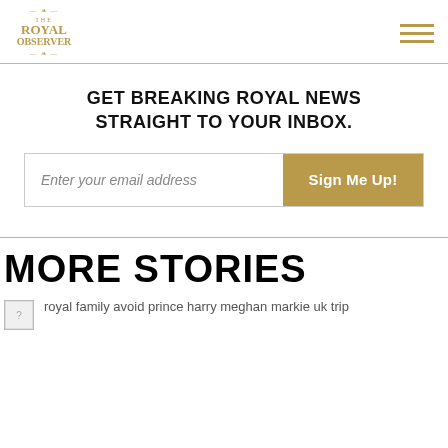The Royal Observer
GET BREAKING ROYAL NEWS STRAIGHT TO YOUR INBOX.
Enter your email address | Sign Me Up!
MORE STORIES
royal family avoid prince harry meghan markie uk trip